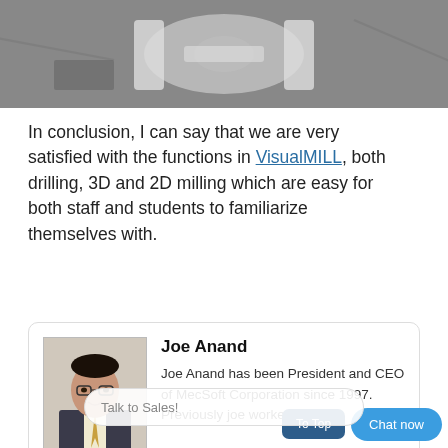[Figure (photo): Black and white photo of a CNC machined part, partially cropped at top of page]
In conclusion, I can say that we are very satisfied with the functions in VisualMILL, both drilling, 3D and 2D milling which are easy for both staff and students to familiarize themselves with.
[Figure (photo): Profile photo of Joe Anand, a man in a suit wearing glasses, shown in a bio card]
Joe Anand
Joe Anand has been President and CEO of MecSoft Corporation since 1997. Previously joe worked for